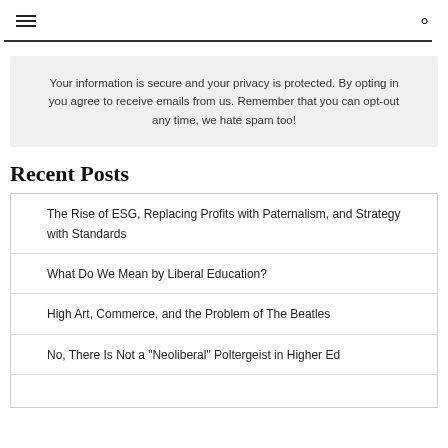Your information is secure and your privacy is protected. By opting in you agree to receive emails from us. Remember that you can opt-out any time, we hate spam too!
Recent Posts
The Rise of ESG, Replacing Profits with Paternalism, and Strategy with Standards
What Do We Mean by Liberal Education?
High Art, Commerce, and the Problem of The Beatles
No, There Is Not a "Neoliberal" Poltergeist in Higher Ed